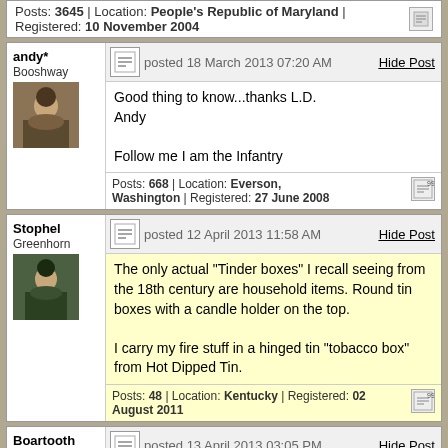Posts: 3645 | Location: People's Republic of Maryland | Registered: 10 November 2004
andy* Booshway
posted 18 March 2013 07:20 AM
Hide Post
Good thing to know...thanks L.D.
Andy

Follow me I am the Infantry
Posts: 668 | Location: Everson, Washington | Registered: 27 June 2008
Stophel Greenhorn
posted 12 April 2013 11:58 AM
Hide Post
The only actual "Tinder boxes" I recall seeing from the 18th century are household items. Round tin boxes with a candle holder on the top.

I carry my fire stuff in a hinged tin "tobacco box" from Hot Dipped Tin.
Posts: 48 | Location: Kentucky | Registered: 02 August 2011
Boartooth Booshway
posted 13 April 2013 03:05 PM
Hide Post
Heh,anyone know an easy way to take the commercial printing off an Altoids tin?Not positive,but it seems that the design is one that's been used for various purposes for at least the